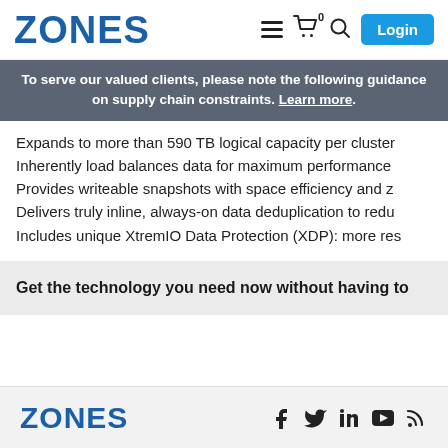ZONES | Login
To serve our valued clients, please note the following guidance on supply chain constraints. Learn more.
Expands to more than 590 TB logical capacity per cluster
Inherently load balances data for maximum performance
Provides writeable snapshots with space efficiency and z
Delivers truly inline, always-on data deduplication to redu
Includes unique XtremIO Data Protection (XDP): more res
Get the technology you need now without having to
ZONES  f  in  YouTube  b